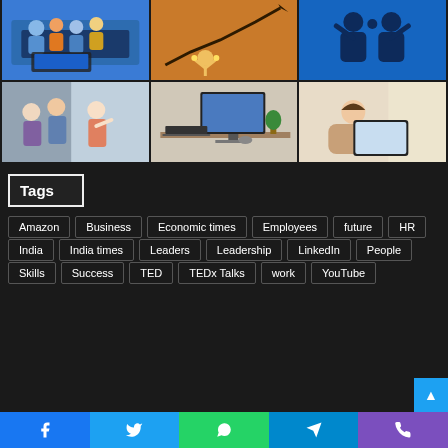[Figure (photo): Three-column photo grid: row 1: team celebrating at laptop, orange background with rising graph and person, two blue silhouette figures high-fiving; row 2: woman presenting in meeting, desktop computer setup, person reading tablet by window]
Tags
Amazon
Business
Economic times
Employees
future
HR
India
India times
Leaders
Leadership
LinkedIn
People
Skills
Success
TED
TEDx Talks
work
YouTube
Facebook Twitter WhatsApp Telegram Viber